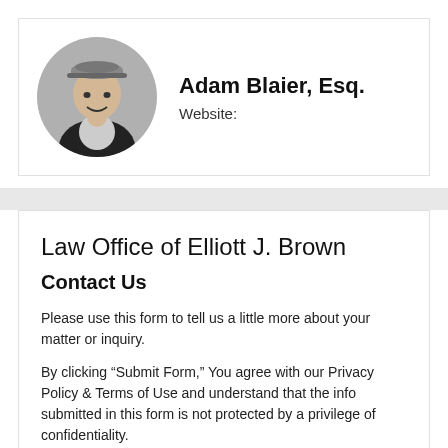[Figure (photo): Black and white circular headshot photo of Adam Blaier, Esq., a man wearing a cap and blazer, smiling]
Adam Blaier, Esq.
Website:
Law Office of Elliott J. Brown
Contact Us
Please use this form to tell us a little more about your matter or inquiry.
By clicking “Submit Form,” You agree with our Privacy Policy & Terms of Use and understand that the info submitted in this form is not protected by a privilege of confidentiality.